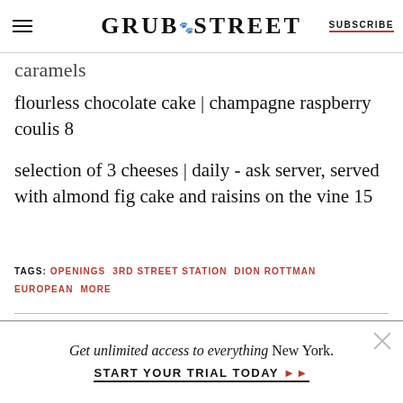GRUB STREET — SUBSCRIBE
caramels
flourless chocolate cake | champagne raspberry coulis 8
selection of 3 cheeses | daily - ask server, served with almond fig cake and raisins on the vine 15
TAGS: OPENINGS  3RD STREET STATION  DION ROTTMAN  EUROPEAN  MORE
[Figure (photo): Horizontal photo strip of a restaurant or food scene]
Get unlimited access to everything New York. START YOUR TRIAL TODAY